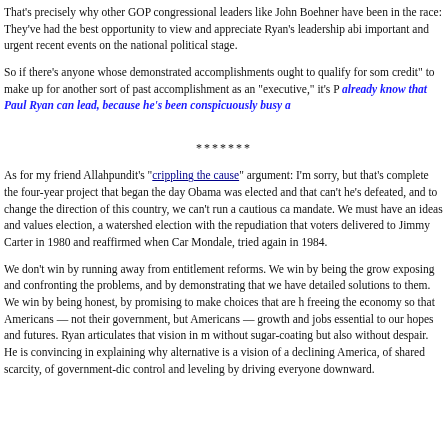That's precisely why other GOP congressional leaders like John Boehner have been in the race: They've had the best opportunity to view and appreciate Ryan's leadership abi important and urgent recent events on the national political stage.
So if there's anyone whose demonstrated accomplishments ought to qualify for som credit" to make up for another sort of past accomplishment as an "executive," it's P already know that Paul Ryan can lead, because he's been conspicuously busy a
*******
As for my friend Allahpundit's "crippling the cause" argument: I'm sorry, but that's complete the four-year project that began the day Obama was elected and that can't he's defeated, and to change the direction of this country, we can't run a cautious ca mandate. We must have an ideas and values election, a watershed election with the repudiation that voters delivered to Jimmy Carter in 1980 and reaffirmed when Car Mondale, tried again in 1984.
We don't win by running away from entitlement reforms. We win by being the grow exposing and confronting the problems, and by demonstrating that we have detailed solutions to them. We win by being honest, by promising to make choices that are h freeing the economy so that Americans — not their government, but Americans — growth and jobs essential to our hopes and futures. Ryan articulates that vision in m without sugar-coating but also without despair. He is convincing in explaining why alternative is a vision of a declining America, of shared scarcity, of government-dic control and leveling by driving everyone downward.